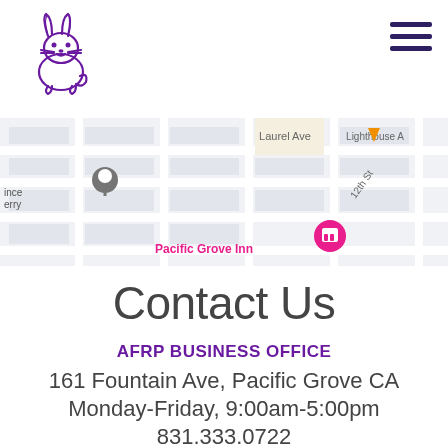[Figure (logo): AFRP animal friends rescue project logo — cartoon rabbit/cat line drawing in purple]
[Figure (map): Google Maps screenshot showing Pacific Grove area with streets including Laurel Ave, 12th St, Lighthouse Ave, and a pink hotel marker for Pacific Grove Inn]
Contact Us
AFRP BUSINESS OFFICE
161 Fountain Ave, Pacific Grove CA
Monday-Friday, 9:00am-5:00pm
831.333.0722
info@animalfriendsrescue.org
AFRP TREASURE SHOP
221 Grand Ave, Pacific Grove CA
Monday-Wednesday, Thursday, Friday & Saturday